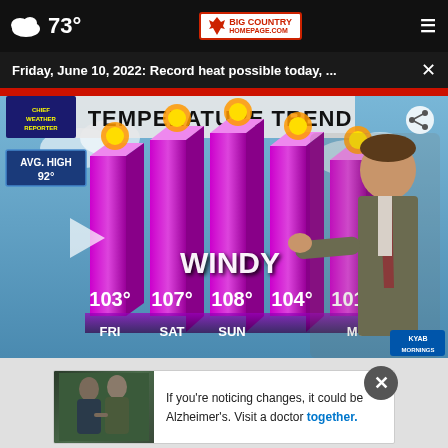73° | Big Country Homepage | Menu
Friday, June 10, 2022: Record heat possible today, ...
[Figure (screenshot): TV weather broadcast screenshot showing Temperature Trend bar chart with purple 3D bars. AVG. HIGH 92°. Days: FRI 103°, SAT 107°, SUN 108°, 104°, MON 101°. Text overlay: WINDY. Weatherman in suit pointing at chart. KYAB Mornings logo in corner.]
[Figure (photo): Advertisement photo showing two men, one with arm around the other. Text: If you're noticing changes, it could be Alzheimer's. Visit a doctor together.]